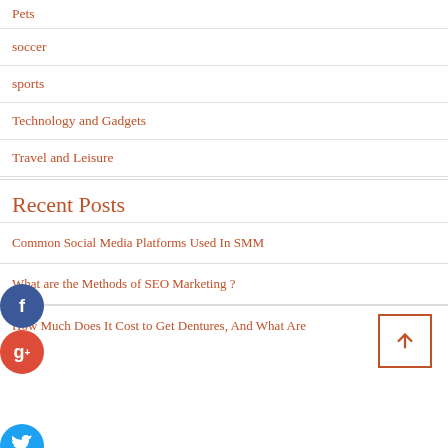Pets
soccer
sports
Technology and Gadgets
Travel and Leisure
Recent Posts
Common Social Media Platforms Used In SMM
What are the Methods of SEO Marketing ?
How Much Does It Cost to Get Dentures, And What Are